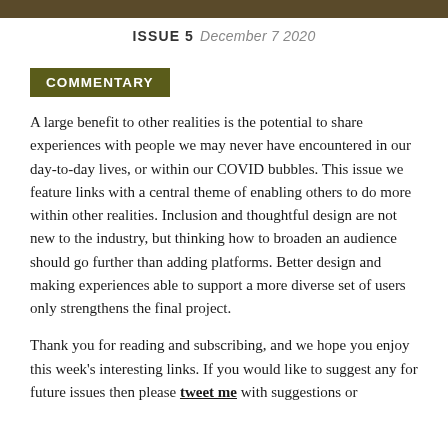ISSUE 5  December 7 2020
COMMENTARY
A large benefit to other realities is the potential to share experiences with people we may never have encountered in our day-to-day lives, or within our COVID bubbles. This issue we feature links with a central theme of enabling others to do more within other realities. Inclusion and thoughtful design are not new to the industry, but thinking how to broaden an audience should go further than adding platforms. Better design and making experiences able to support a more diverse set of users only strengthens the final project.
Thank you for reading and subscribing, and we hope you enjoy this week's interesting links. If you would like to suggest any for future issues then please tweet me with suggestions or